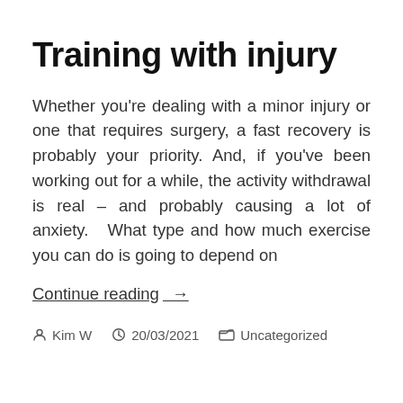Training with injury
Whether you're dealing with a minor injury or one that requires surgery, a fast recovery is probably your priority. And, if you've been working out for a while, the activity withdrawal is real – and probably causing a lot of anxiety.   What type and how much exercise you can do is going to depend on
Continue reading  →
Kim W  20/03/2021  Uncategorized